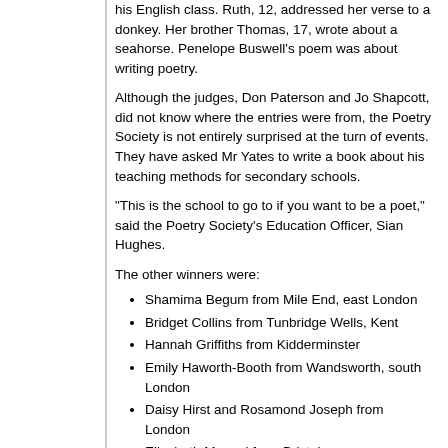his English class. Ruth, 12, addressed her verse to a donkey. Her brother Thomas, 17, wrote about a seahorse. Penelope Buswell's poem was about writing poetry.
Although the judges, Don Paterson and Jo Shapcott, did not know where the entries were from, the Poetry Society is not entirely surprised at the turn of events. They have asked Mr Yates to write a book about his teaching methods for secondary schools.
"This is the school to go to if you want to be a poet," said the Poetry Society's Education Officer, Sian Hughes.
The other winners were:
Shamima Begum from Mile End, east London
Bridget Collins from Tunbridge Wells, Kent
Hannah Griffiths from Kidderminster
Emily Haworth-Booth from Wandsworth, south London
Daisy Hirst and Rosamond Joseph from London
Elizabeth Manuel from Bristol
Helen Mort from Chesterfield
Matthew Paskins from London.
BBC vote
The BBC has been doing its bit to mark the day by inviting people to vote for the nation's favourite poem - this year's theme being comic poetry.